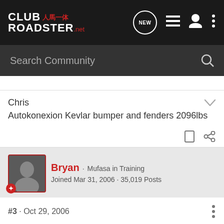CLUB 人馬一体 ROADSTER.net — navigation bar with NEW, list, user, and more icons
Search Community
Chris
Autokonexion Kevlar bumper and fenders 2096lbs
Bryan · Mufasa in Training
Joined Mar 31, 2006 · 35,019 Posts
#3 · Oct 29, 2006
Speaking of ZZL, here's me (and my buddy Roman) at the Chicago event.